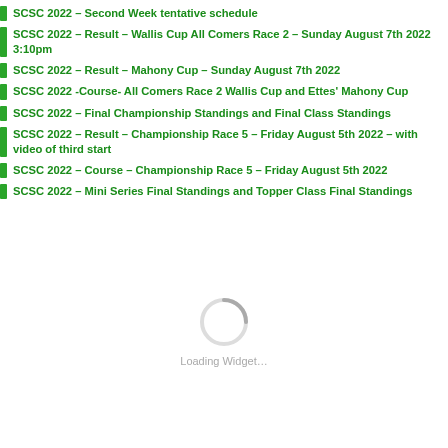SCSC 2022 – Second Week tentative schedule
SCSC 2022 – Result – Wallis Cup All Comers Race 2 – Sunday August 7th 2022 3:10pm
SCSC 2022 – Result – Mahony Cup – Sunday August 7th 2022
SCSC 2022 -Course- All Comers Race 2 Wallis Cup and Ettes' Mahony Cup
SCSC 2022 – Final Championship Standings and Final Class Standings
SCSC 2022 – Result – Championship Race 5 – Friday August 5th 2022 – with video of third start
SCSC 2022 – Course – Championship Race 5 – Friday August 5th 2022
SCSC 2022 – Mini Series Final Standings and Topper Class Final Standings
[Figure (other): Loading spinner animation with text 'Loading Widget...']